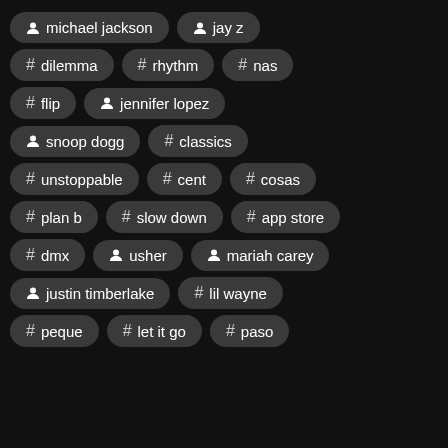person michael jackson
person jay z
# dilemma
# rhythm
# nas
# flip
person jennifer lopez
person snoop dogg
# classics
# unstoppable
# cent
# cosas
# plan b
# slow down
# app store
# dmx
person usher
person mariah carey
person justin timberlake
# lil wayne
# peque
# let it go
# paso